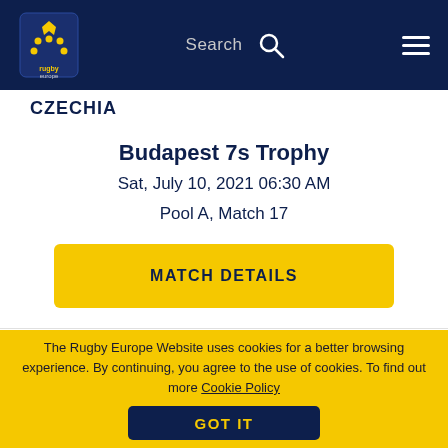[Figure (screenshot): Rugby Europe website navigation bar with logo, Search field, search icon, and hamburger menu on dark navy background]
CZECHIA
Budapest 7s Trophy
Sat, July 10, 2021 06:30 AM
Pool A, Match 17
MATCH DETAILS
The Rugby Europe Website uses cookies for a better browsing experience. By continuing, you agree to the use of cookies. To find out more Cookie Policy
GOT IT